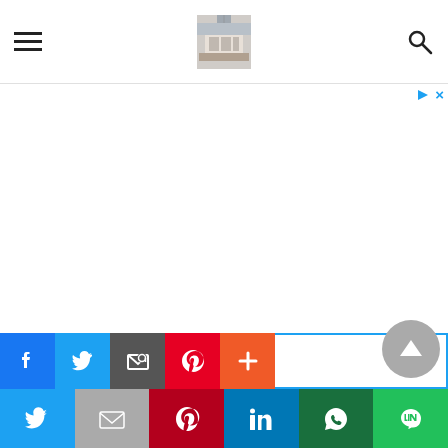Website header with hamburger menu, logo image, and search icon
[Figure (screenshot): Advertisement area — large white blank ad space with AdChoices icon (play and close buttons) in top right corner]
[Figure (screenshot): Social share bar (top row): Facebook, Twitter, Email, Pinterest, More (+) buttons; with blue border overlay and gray scroll-to-top circular button]
[Figure (screenshot): Social share bar (bottom row): Twitter, Gmail (M), Pinterest, LinkedIn, WhatsApp, LINE green buttons]